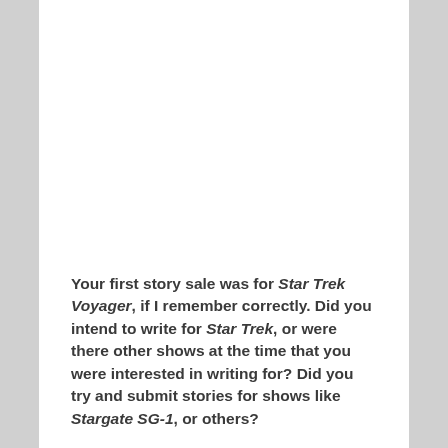Your first story sale was for Star Trek Voyager, if I remember correctly. Did you intend to write for Star Trek, or were there other shows at the time that you were interested in writing for? Did you try and submit stories for shows like Stargate SG-1, or others?